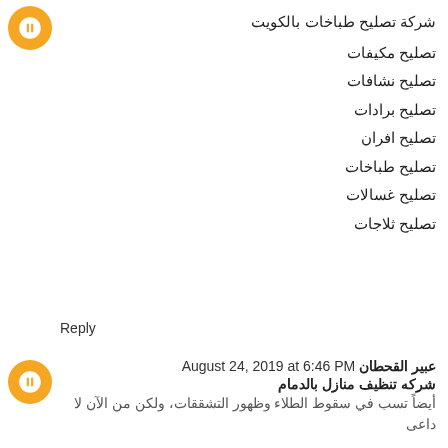[Figure (illustration): Orange circular avatar with white blogger B icon at top left]
شركة تصليح طباخات بالكويت
تصليح مكيفات
تصليح نشافات
تصليح برادات
تصليح افران
تصليح طباخات
تصليح غسالات
تصليح ثلاجات
Reply
[Figure (illustration): Orange circular avatar with white blogger B icon for second comment]
عبير القحطان August 24, 2019 at 6:46 PM
شركه تنظيف منازل بالدمام
أيضاً تسب في سقوط الطلاء وظهور التشققات، ولكن من الآن لا داعى